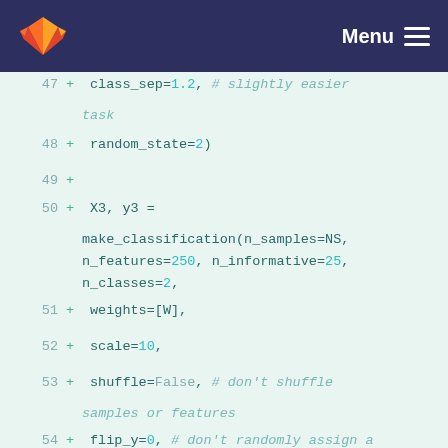Menu
[Figure (screenshot): GitLab code diff view showing Python code lines 47-54 with added lines (marked with +) containing make_classification function call with parameters]
47  +  class_sep=1.2, # slightly easier task
48  +  random_state=2)
49  +
50  + X3, y3 = make_classification(n_samples=NS, n_features=250, n_informative=25, n_classes=2,
51  +  weights=[W],
52  +  scale=10,
53  +  shuffle=False, # don't shuffle samples or features
54  +  flip_y=0, # don't randomly assign a fraction of samples to a class